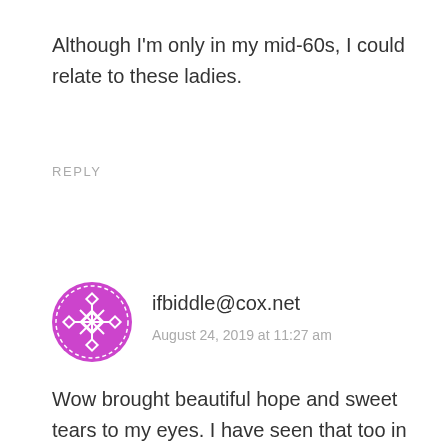Although I'm only in my mid-60s, I could relate to these ladies.
REPLY
[Figure (illustration): Purple decorative avatar icon with geometric diamond/snowflake pattern]
ifbiddle@cox.net
August 24, 2019 at 11:27 am
Wow brought beautiful hope and sweet tears to my eyes. I have seen that too in people and friends my mom is 89 and is not ready to leave this earth yet but she had some of her friends pass on and I know that they will meet in heaven and we will know eachother! I wish there was a magazine on elderly